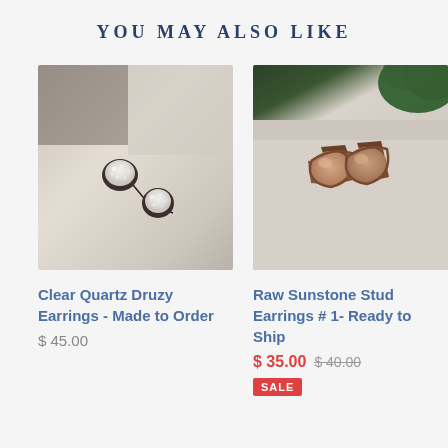YOU MAY ALSO LIKE
[Figure (photo): Clear quartz druzy stud earrings on a light stone surface]
Clear Quartz Druzy Earrings - Made to Order
$ 45.00
[Figure (photo): Raw sunstone stud earrings on a light stone surface with green foliage background]
Raw Sunstone Stud Earrings # 1- Ready to Ship
$ 35.00  $ 40.00
SALE